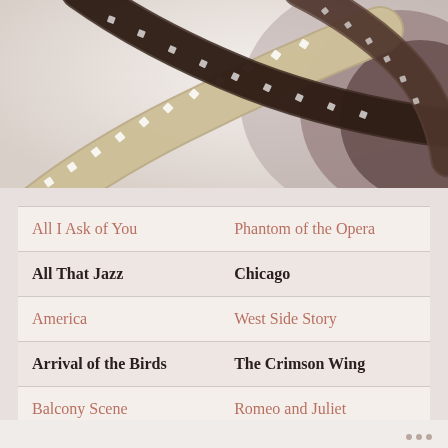[Figure (photo): Close-up photograph of film strips curling and overlapping, showing the sprocket holes and translucent film material in warm beige and dark brown tones against a light background.]
| Song | Film |
| --- | --- |
| All I Ask of You | Phantom of the Opera |
| All That Jazz | Chicago |
| America | West Side Story |
| Arrival of the Birds | The Crimson Wing |
| Balcony Scene | Romeo and Juliet |
...